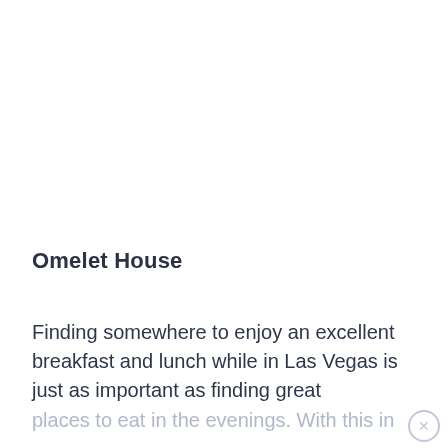Omelet House
Finding somewhere to enjoy an excellent breakfast and lunch while in Las Vegas is just as important as finding great places to eat in the evenings. With this in